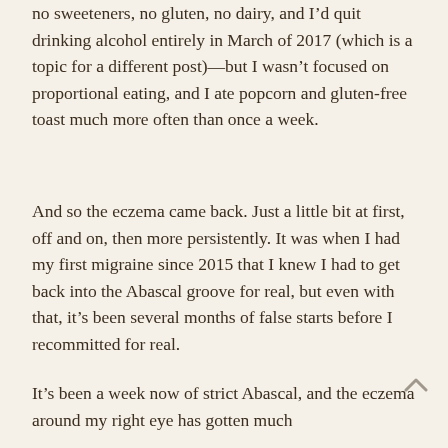no sweeteners, no gluten, no dairy, and I'd quit drinking alcohol entirely in March of 2017 (which is a topic for a different post)—but I wasn't focused on proportional eating, and I ate popcorn and gluten-free toast much more often than once a week.
And so the eczema came back. Just a little bit at first, off and on, then more persistently. It was when I had my first migraine since 2015 that I knew I had to get back into the Abascal groove for real, but even with that, it's been several months of false starts before I recommitted for real.
It's been a week now of strict Abascal, and the eczema around my right eye has gotten much